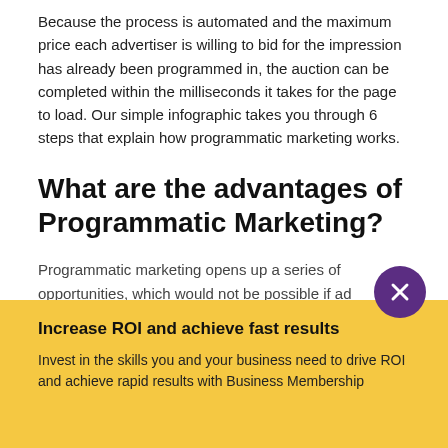Because the process is automated and the maximum price each advertiser is willing to bid for the impression has already been programmed in, the auction can be completed within the milliseconds it takes for the page to load. Our simple infographic takes you through 6 steps that explain how programmatic marketing works.
What are the advantages of Programmatic Marketing?
Programmatic marketing opens up a series of opportunities, which would not be possible if ad placement was done manually, as it has been done in the past. It allows advertisers to procure digital media without having to pre-negotiate a price, so they pay only for the relevant impression that they actually receive. They can also sig…
Increase ROI and achieve fast results
Invest in the skills you and your business need to drive ROI and achieve rapid results with Business Membership